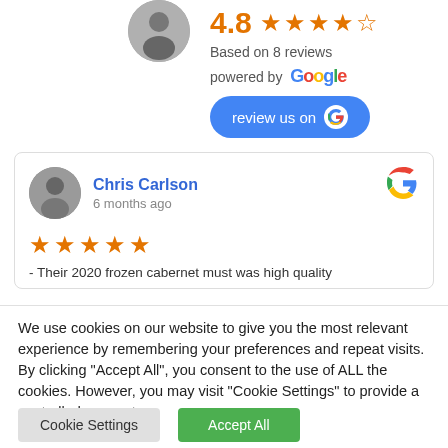[Figure (other): Partial avatar image top left, cropped circular profile photo]
4.8
[Figure (other): 4.8 star rating with orange stars (4 full, 1 half)]
Based on 8 reviews
powered by Google
[Figure (other): Blue rounded button with text 'review us on' and Google G icon]
[Figure (other): Review card for Chris Carlson, 6 months ago, 5 stars, partial review text]
We use cookies on our website to give you the most relevant experience by remembering your preferences and repeat visits. By clicking "Accept All", you consent to the use of ALL the cookies. However, you may visit "Cookie Settings" to provide a controlled consent.